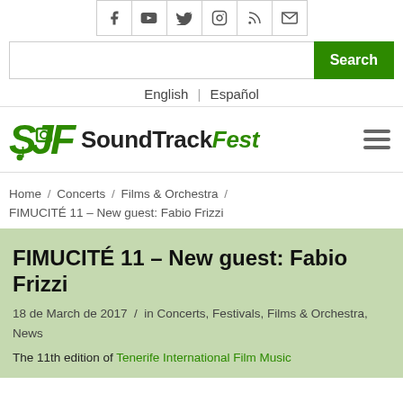[Figure (other): Social media icons bar: Facebook, YouTube, Twitter, Instagram, RSS, Email]
[Figure (screenshot): Search bar with text input and green Search button]
English  |  Español
[Figure (logo): SoundTrackFest logo with green STF icon and bold/italic text SoundTrackFest, plus hamburger menu icon]
Home / Concerts / Films & Orchestra / FIMUCITÉ 11 – New guest: Fabio Frizzi
FIMUCITÉ 11 – New guest: Fabio Frizzi
18 de March de 2017  /  in Concerts, Festivals, Films & Orchestra, News
The 11th edition of Tenerife International Film Music...